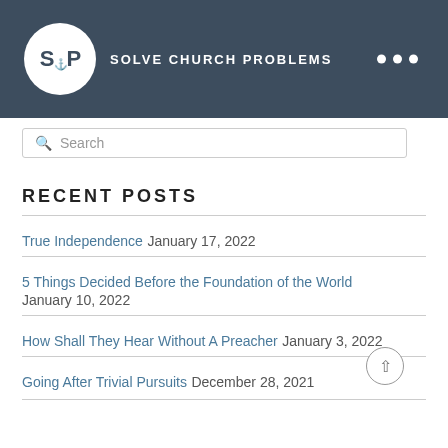[Figure (logo): Solve Church Problems logo: white circle with SCP acronym and church/anchor icon, text 'SOLVE CHURCH PROBLEMS' next to it, three white dots on the right, on dark blue-grey background header]
[Figure (other): Search input box with magnifying glass icon and placeholder text 'Search']
RECENT POSTS
True Independence January 17, 2022
5 Things Decided Before the Foundation of the World January 10, 2022
How Shall They Hear Without A Preacher January 3, 2022
Going After Trivial Pursuits December 28, 2021